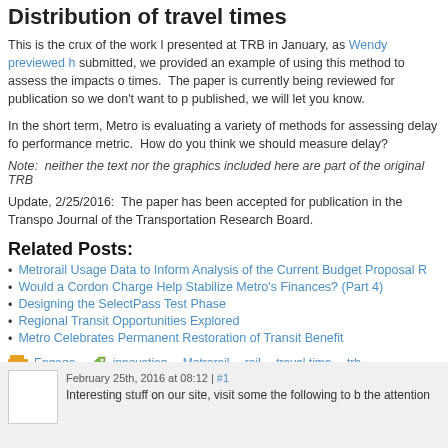Distribution of travel times
This is the crux of the work I presented at TRB in January, as Wendy previewed h... submitted, we provided an example of using this method to assess the impacts o... times. The paper is currently being reviewed for publication so we don't want to p... published, we will let you know.
In the short term, Metro is evaluating a variety of methods for assessing delay fo... performance metric. How do you think we should measure delay?
Note: neither the text nor the graphics included here are part of the original TRB...
Update, 2/25/2016: The paper has been accepted for publication in the Transpo... Journal of the Transportation Research Board.
Related Posts:
Metrorail Usage Data to Inform Analysis of the Current Budget Proposal R...
Would a Cordon Charge Help Stabilize Metro's Finances? (Part 4)
Designing the SelectPass Test Phase
Regional Transit Opportunities Explored
Metro Celebrates Permanent Restoration of Transit Benefit
Engage   innovation, Metrorail, rail, travel time, trb
February 25th, 2016 at 08:12 | #1
Interesting stuff on our site, visit some the following to b the attention...